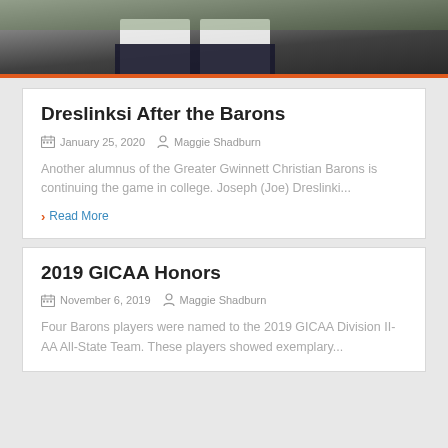[Figure (photo): Photo of two people in white shirts and dark pants, partial view from waist down on a path]
Dreslinksi After the Barons
January 25, 2020   Maggie Shadburn
Another alumnus of the Greater Gwinnett Christian Barons is continuing the game in college. Joseph (Joe) Dreslinki...
› Read More
2019 GICAA Honors
November 6, 2019   Maggie Shadburn
Four Barons players were named to the 2019 GICAA Division II-AA All-State Team. These players showed exemplary...